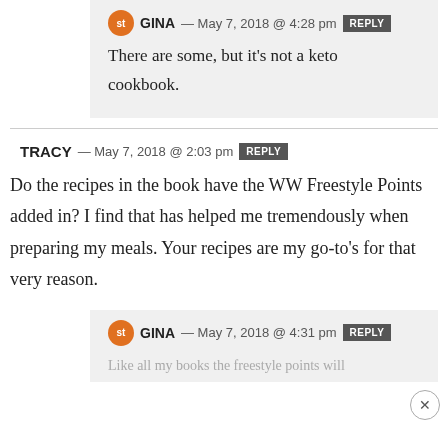GINA — May 7, 2018 @ 4:28 pm [REPLY] There are some, but it's not a keto cookbook.
TRACY — May 7, 2018 @ 2:03 pm [REPLY]
Do the recipes in the book have the WW Freestyle Points added in? I find that has helped me tremendously when preparing my meals. Your recipes are my go-to's for that very reason.
GINA — May 7, 2018 @ 4:31 pm [REPLY] Like all my books the freestyle points will